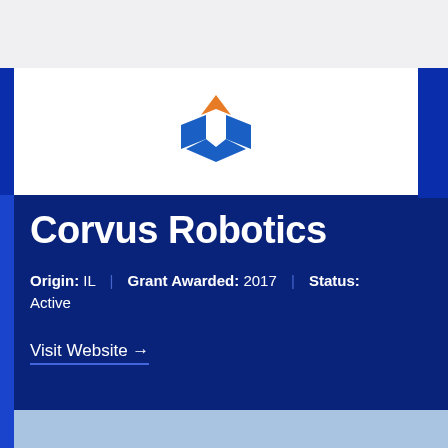[Figure (logo): Corvus Robotics logo — stylized chevron/bird shape in blue and orange on white background]
Corvus Robotics
Origin: IL | Grant Awarded: 2017 | Status: Active
Visit Website →